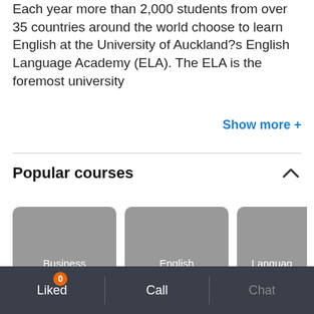Each year more than 2,000 students from over 35 countries around the world choose to learn English at the University of Auckland?s English Language Academy (ELA). The ELA is the foremost university
Show more +
Popular courses
[Figure (other): Course card: Business English]
[Figure (other): Course card: English language]
[Figure (other): Course card: Language & Culture (partially visible)]
Liked 0   Call   Chat